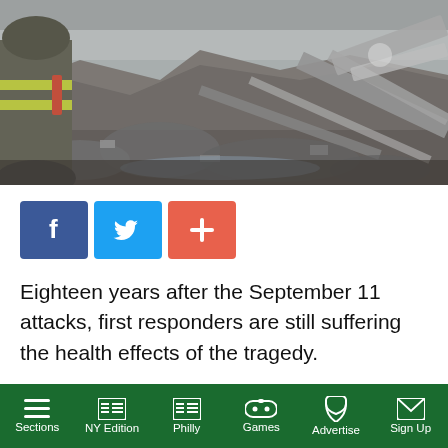[Figure (photo): A firefighter in yellow-striped gear stands amid rubble and debris at what appears to be the 9/11 World Trade Center site, with collapsed concrete and twisted metal visible.]
[Figure (infographic): Social media sharing buttons: Facebook (blue), Twitter (light blue), and a red plus/share button]
Eighteen years after the September 11 attacks, first responders are still suffering the health effects of the tragedy.
ABC reported that the 9/11 aftermath has killed ten
Sections | NY Edition | Philly | Games | Advertise | Sign Up